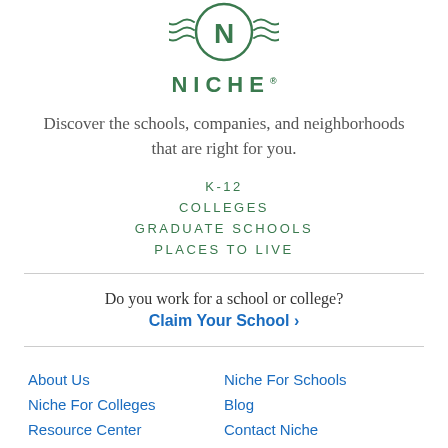[Figure (logo): Niche logo with stylized N and wave lines above the text NICHE in green]
Discover the schools, companies, and neighborhoods that are right for you.
K-12
COLLEGES
GRADUATE SCHOOLS
PLACES TO LIVE
Do you work for a school or college?
Claim Your School ›
About Us
Niche For Schools
Niche For Colleges
Blog
Resource Center
Contact Niche
Data
Careers